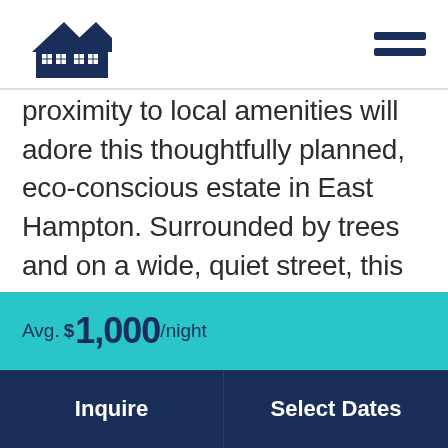[Figure (logo): Two overlapping house silhouettes logo in dark navy blue]
[Figure (illustration): Hamburger menu icon (two horizontal lines) in dark navy]
proximity to local amenities will adore this thoughtfully planned, eco-conscious estate in East Hampton. Surrounded by trees and on a wide, quiet street, this four-bedroom, three-bathroom home includes 2,200 square feet of living space. Entering the home, you will be impressed by the abundance of natural light
Avg. $1,000/night
Inquire
Select Dates